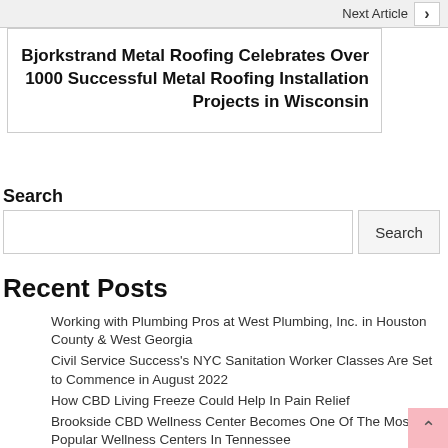Next Article ›
Bjorkstrand Metal Roofing Celebrates Over 1000 Successful Metal Roofing Installation Projects in Wisconsin
Search
Recent Posts
Working with Plumbing Pros at West Plumbing, Inc. in Houston County & West Georgia
Civil Service Success's NYC Sanitation Worker Classes Are Set to Commence in August 2022
How CBD Living Freeze Could Help In Pain Relief
Brookside CBD Wellness Center Becomes One Of The Most Popular Wellness Centers In Tennessee
Terry's Natural Market Provides CBN Carts For Anxiety